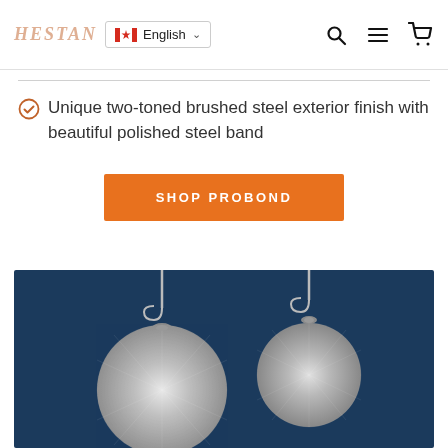Hestan — English (Canada) — navigation header with search, menu, cart icons
Unique two-toned brushed steel exterior finish with beautiful polished steel band
SHOP PROBOND
[Figure (photo): Two circular brushed stainless steel pan lids hanging by S-hooks against a dark navy blue background. One lid is larger than the other, both showing a radial polished steel surface.]